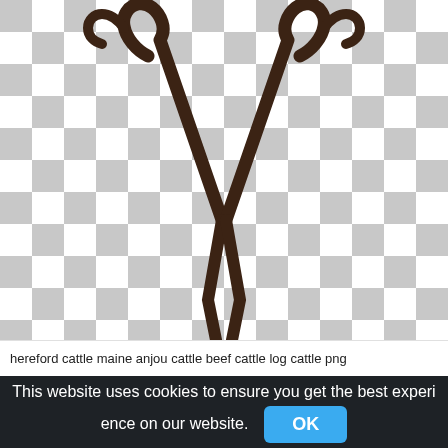[Figure (illustration): A cattle brand logo mark resembling stylized longhorn horns / letter W, drawn in dark brown, displayed on a transparent (checkerboard) background.]
hereford cattle maine anjou cattle beef cattle log cattle png
This website uses cookies to ensure you get the best experience on our website. OK